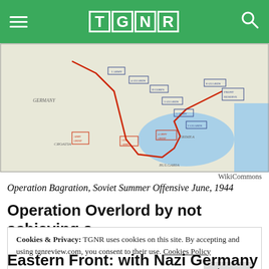TGNR
[Figure (map): Military map showing Operation Bagration, Soviet Summer Offensive, June 1944. Shows Eastern Europe including Germany, Croatia, Bulgaria, and Crimea regions with military unit positions marked in red and blue.]
WikiCommons
Operation Bagration, Soviet Summer Offensive June, 1944
Operation Overlord by not achieving a
Cookies & Privacy: TGNR uses cookies on this site. By accepting and using tgnreview.com, you consent to their use. Cookies Policy
Eastern Front: with Nazi Germany able to